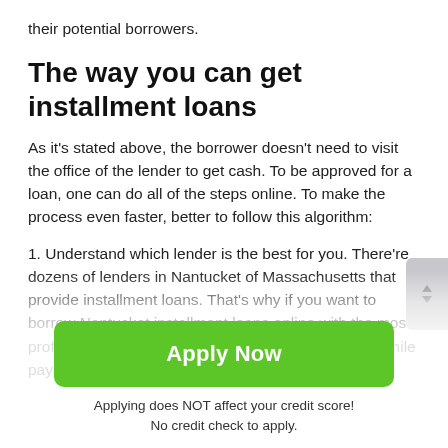their potential borrowers.
The way you can get installment loans
As it's stated above, the borrower doesn't need to visit the office of the lender to get cash. To be approved for a loan, one can do all of the steps online. To make the process even faster, better to follow this algorithm:
1. Understand which lender is the best for you. There're dozens of lenders in Nantucket of Massachusetts that provide installment loans. That's why if you want to borrow Nantucket installment loans online with the most profitable circumstances and avoid having troubles while paying off
[Figure (other): Green 'Apply Now' button with text below: 'Applying does NOT affect your credit score! No credit check to apply.']